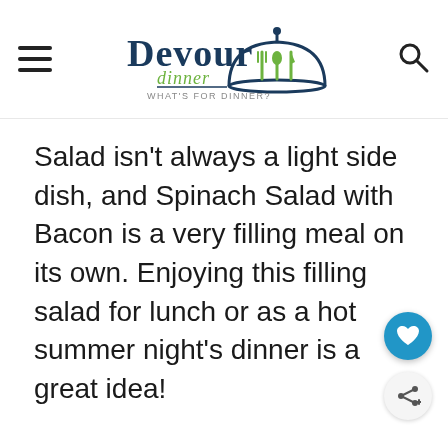[Figure (logo): Devour Dinner logo — text 'Devour' in dark navy serif font with 'dinner' in green script underneath, tagline 'WHAT'S FOR DINNER?' in small caps, with a cloche dish cover and green fork/spoon icon]
Salad isn't always a light side dish, and Spinach Salad with Bacon is a very filling meal on its own. Enjoying this filling salad for lunch or as a hot summer night's dinner is a great idea!